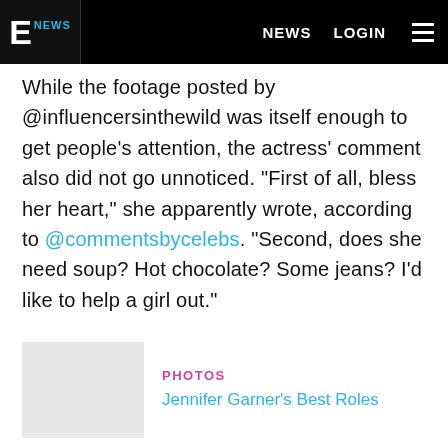E NEWS | NEWS | LOGIN
While the footage posted by @influencersinthewild was itself enough to get people's attention, the actress' comment also did not go unnoticed. "First of all, bless her heart," she apparently wrote, according to @commentsbycelebs. "Second, does she need soup? Hot chocolate? Some jeans? I'd like to help a girl out."
PHOTOS Jennifer Garner's Best Roles